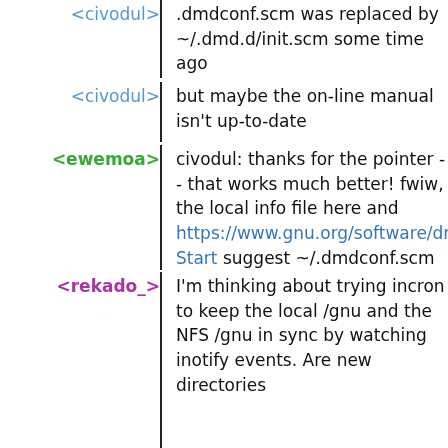<civodul> .dmdconf.scm was replaced by ~/.dmd.d/init.scm some time ago
<civodul> but maybe the on-line manual isn't up-to-date
<ewemoa> civodul: thanks for the pointer -- that works much better! fwiw, the local info file here and https://www.gnu.org/software/dmd/manual/dmd#J Start suggest ~/.dmdconf.scm
<rekado_> I'm thinking about trying incron to keep the local /gnu and the NFS /gnu in sync by watching inotify events. Are new directories